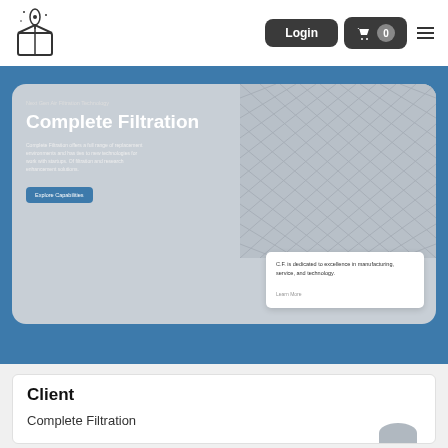[Figure (screenshot): Website header navigation bar with logo (rocket and box icon), Login button, Cart button with 0 items, and hamburger menu icon]
[Figure (screenshot): Blue hero banner section containing a card with 'Next Gen Air Filtration Technology' subtitle, 'Complete Filtration' heading, description text, 'Explore Capabilities' button, a grey mesh/filter image, and a white quote card reading 'C.F. is dedicated to excellence in manufacturing, service, and technology. Learn More']
Client
Complete Filtration